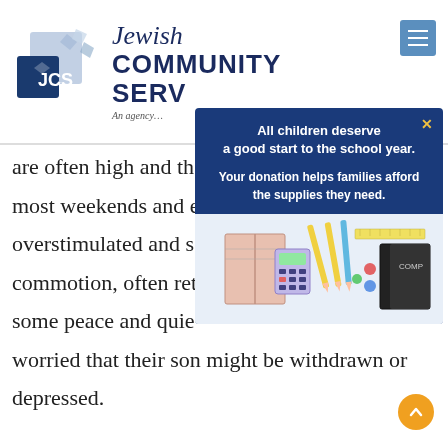[Figure (logo): JCS (Jewish Community Services) logo with blue square geometric design and text]
Jewish COMMUNITY SERVICES
An agency…
are often high and th…
most weekends and e…
overstimulated and s…
commotion, often ret…
some peace and quie…
worried that their son might be withdrawn or
depressed.
[Figure (screenshot): Popup modal with dark blue background. Text reads: 'All children deserve a good start to the school year. Your donation helps families afford the supplies they need.' Below is an image of school supplies including pencils, notebooks, rulers, and a calculator.]